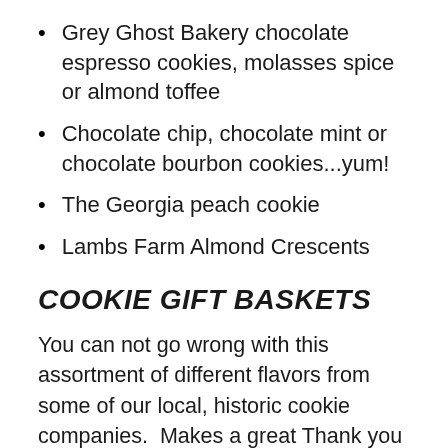Grey Ghost Bakery chocolate espresso cookies, molasses spice or almond toffee
Chocolate chip, chocolate mint or chocolate bourbon cookies...yum!
The Georgia peach cookie
Lambs Farm Almond Crescents
COOKIE GIFT BASKETS
You can not go wrong with this assortment of different flavors from some of our local, historic cookie companies.  Makes a great Thank you gift, Christmas gift, Easter basket, Mother's Day gift, college student gift, birthday gift, thinking of you cookie gift basket, or for any occasion when you